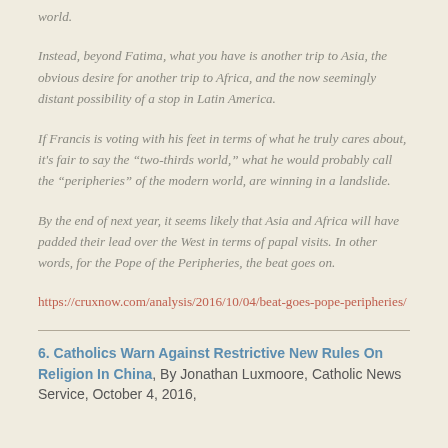world.
Instead, beyond Fatima, what you have is another trip to Asia, the obvious desire for another trip to Africa, and the now seemingly distant possibility of a stop in Latin America.
If Francis is voting with his feet in terms of what he truly cares about, it's fair to say the “two-thirds world,” what he would probably call the “peripheries” of the modern world, are winning in a landslide.
By the end of next year, it seems likely that Asia and Africa will have padded their lead over the West in terms of papal visits. In other words, for the Pope of the Peripheries, the beat goes on.
https://cruxnow.com/analysis/2016/10/04/beat-goes-pope-peripheries/
6. Catholics Warn Against Restrictive New Rules On Religion In China, By Jonathan Luxmoore, Catholic News Service, October 4, 2016,